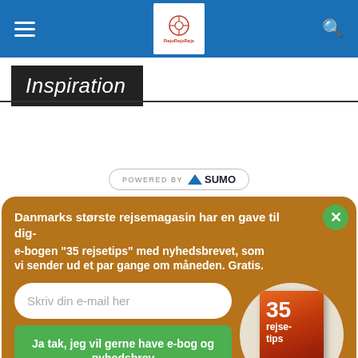RejoRejsRejs navigation bar
Inspiration
[Figure (logo): Powered by SUMO badge]
Danmarks største rejsemagasin har en gave til dig- e-bogen "35 rejsetips" med nyhedsbrevet, som vi sender ud et par gange om måneden. Gratis.
Skriv din e-mail her
Ja tak, jeg vil gerne have e-bog og nyhedsbrev